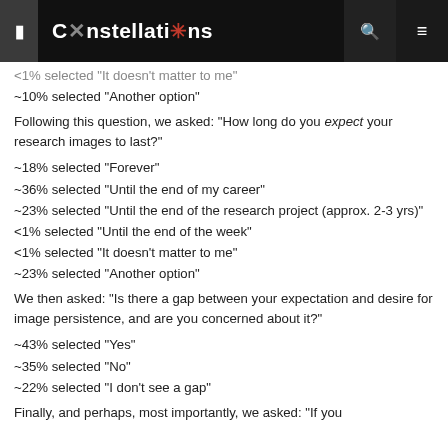Constellations
<1% selected "It doesn't matter to me"
~10% selected "Another option"
Following this question, we asked: "How long do you expect your research images to last?"
~18% selected "Forever"
~36% selected "Until the end of my career"
~23% selected "Until the end of the research project (approx. 2-3 yrs)"
<1% selected "Until the end of the week"
<1% selected "It doesn't matter to me"
~23% selected "Another option"
We then asked: "Is there a gap between your expectation and desire for image persistence, and are you concerned about it?"
~43% selected "Yes"
~35% selected "No"
~22% selected "I don't see a gap"
Finally, and perhaps, most importantly, we asked: "If you